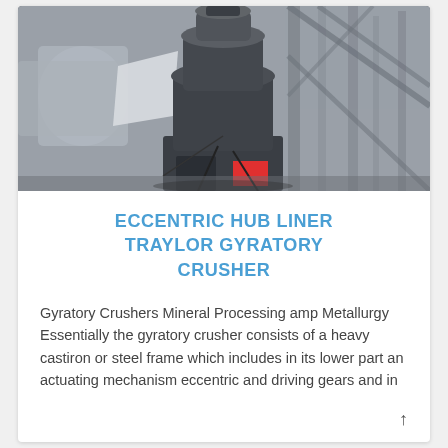[Figure (photo): Industrial gyratory crusher machine installed in a facility with metal scaffolding framework visible in the background. The crusher is a large dark-colored machine with pipes and mechanical components.]
ECCENTRIC HUB LINER TRAYLOR GYRATORY CRUSHER
Gyratory Crushers Mineral Processing amp Metallurgy Essentially the gyratory crusher consists of a heavy castiron or steel frame which includes in its lower part an actuating mechanism eccentric and driving gears and in